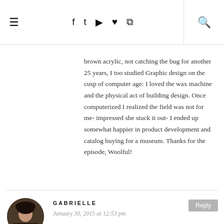☰  f  t  ⬡  p  )))  🔍
brown acrylic, not catching the bug for another 25 years, I too studied Graphic design on the cusp of computer age: I loved the wax machine and the physical act of building design. Once computerized I realized the field was not for me- impressed she stuck it out- I ended up somewhat happier in product development and catalog buying for a museum. Thanks for the episode, Woolful!
GABRIELLE
January 30, 2015 at 12:53 pm
I enjoyed listening to Karen Templar and Felicia Semple's stories. I found